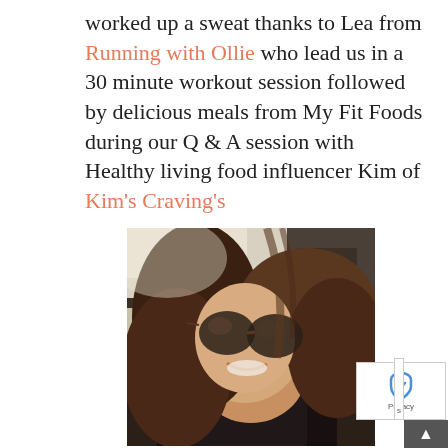worked up a sweat thanks to Lea from Running with Ollie who lead us in a 30 minute workout session followed by delicious meals from My Fit Foods during our Q & A session with Healthy living food influencer Kim of Kim's Craving's
[Figure (photo): A woman with long brown hair and sunglasses taking a selfie inside a car, smiling, with sunlight coming from the window behind her.]